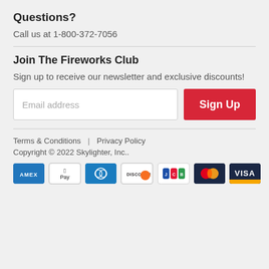Questions?
Call us at 1-800-372-7056
Join The Fireworks Club
Sign up to receive our newsletter and exclusive discounts!
Email address [input field] Sign Up [button]
Terms & Conditions | Privacy Policy
Copyright © 2022 Skylighter, Inc..
[Figure (other): Payment method icons: American Express, Apple Pay, Diners Club, Discover, JCB, Mastercard, Visa]